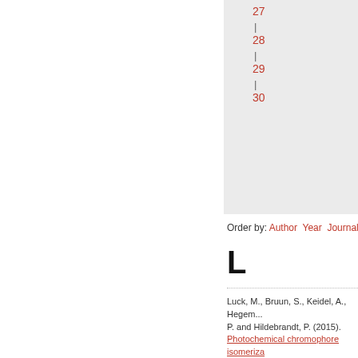27
28
29
30
Order by: Author  Year  Journal
L
Luck, M., Bruun, S., Keidel, A., Hegem... P. and Hildebrandt, P. (2015). Photochemical chromophore isomerization in histidine kinase rhodopsin HKR1. Fe... Letters, 1067–1071.
Luck, M., Velázquez Escobar, F., Glass... Sabotke, M.-I., Hagedorn, R., Corelou... Siebert, F., Hildebrandt, P. and Hegem... P. (2019). Photoreactions of the Histidine Kinase Rhodopsin Ot-HKR from the Marine Picoalga Ostreococcus tauri. Biochemistry, 1878-1891.
Link to publication